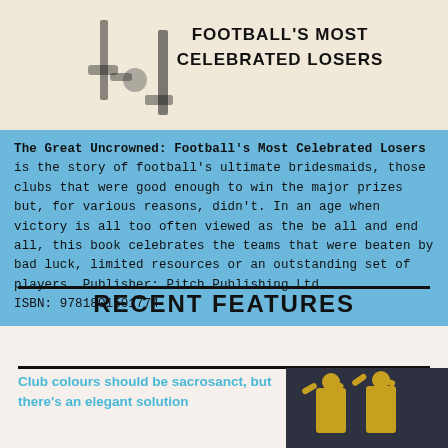[Figure (photo): Book cover image showing football player legs and text 'FOOTBALL'S MOST CELEBRATED LOSERS' on a beige/cream background]
The Great Uncrowned: Football's Most Celebrated Losers is the story of football's ultimate bridesmaids, those clubs that were good enough to win the major prizes but, for various reasons, didn't. In an age when victory is all too often viewed as the be all and end all, this book celebrates the teams that were beaten by bad luck, limited resources or an outstanding set of players. Publisher: Pitch Publishing Ltd
ISBN: 9781801501774
RECENT FEATURES
Club colours should be sacrosanct, but there's an elegant solution
[Figure (photo): Two football players in yellow/gold jerseys celebrating with arms raised]